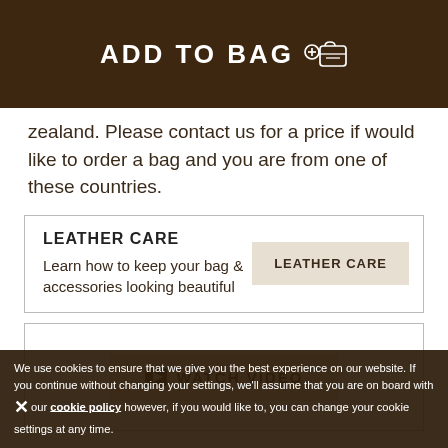ADD TO BAG
Zealand. Please contact us for a price if would like to order a bag and you are from one of these countries.
LEATHER CARE
Learn how to keep your bag & accessories looking beautiful
LEATHER CARE
[Figure (other): Watch Video button with play icon]
YOU MAY ALSO LIKE  RECENTLY VIEWED
We use cookies to ensure that we give you the best experience on our website. If you continue without changing your settings, we'll assume that you are on board with our cookie policy however, if you would like to, you can change your cookie settings at any time.